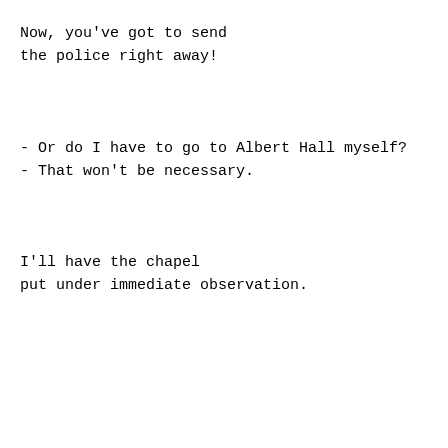Now, you've got to send
the police right away!
- Or do I have to go to Albert Hall myself?
- That won't be necessary.
I'll have the chapel
put under immediate observation.